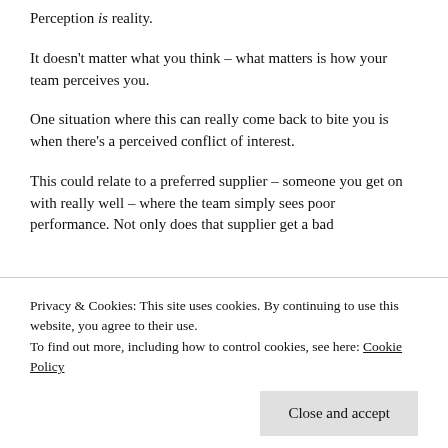Perception is reality.
It doesn't matter what you think – what matters is how your team perceives you.
One situation where this can really come back to bite you is when there's a perceived conflict of interest.
This could relate to a preferred supplier – someone you get on with really well – where the team simply sees poor performance. Not only does that supplier get a bad
Privacy & Cookies: This site uses cookies. By continuing to use this website, you agree to their use.
To find out more, including how to control cookies, see here: Cookie Policy
and you have a friendship with them. The word will spread